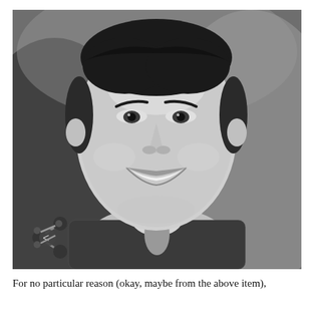[Figure (photo): Black and white portrait photograph of a young smiling man with dark hair, wearing a patterned/floral shirt and a light-colored collar. A share icon is visible in the lower left of the photo.]
For no particular reason (okay, maybe from the above item),